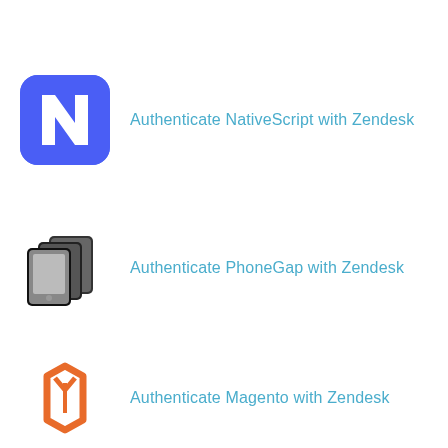[Figure (logo): NativeScript logo - blue rounded square with white N letter]
Authenticate NativeScript with Zendesk
[Figure (logo): PhoneGap logo - black stacked mobile device icons]
Authenticate PhoneGap with Zendesk
[Figure (logo): Magento logo - orange diamond/circle icon]
Authenticate Magento with Zendesk